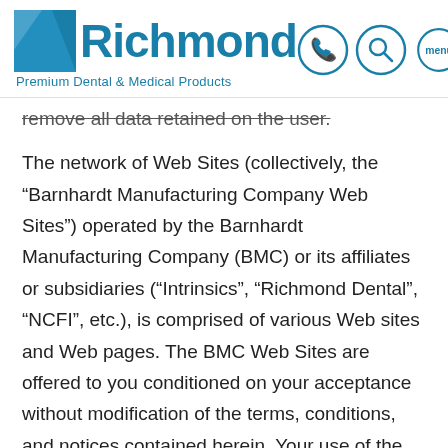Richmond Premium Dental & Medical Products
remove all data retained on the user.
The network of Web Sites (collectively, the “Barnhardt Manufacturing Company Web Sites”) operated by the Barnhardt Manufacturing Company (BMC) or its affiliates or subsidiaries (“Intrinsics”, “Richmond Dental”, “NCFI”, etc.), is comprised of various Web sites and Web pages. The BMC Web Sites are offered to you conditioned on your acceptance without modification of the terms, conditions, and notices contained herein. Your use of the BMC Web Sites constitutes